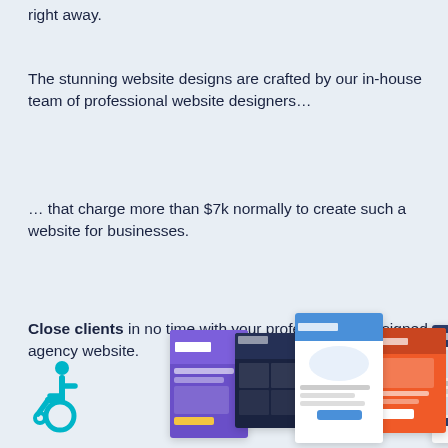right away.
The stunning website designs are crafted by our in-house team of professional website designers…
… that charge more than $7k normally to create such a website for businesses.
Close clients in no time with your professionally designed agency website.
[Figure (illustration): Accessibility wheelchair icon in teal/cyan color on the left, and a collage of multiple website design screenshots displayed as overlapping cards showing various agency website templates]